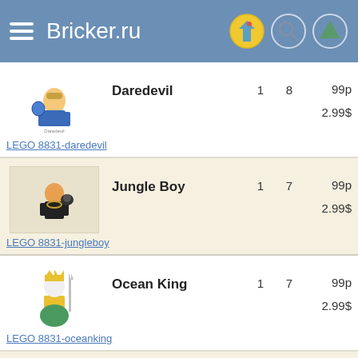Bricker.ru
Daredevil  1  8  99p  2.99$
LEGO 8831-daredevil
Jungle Boy  1  7  99p  2.99$
LEGO 8831-jungleboy
Ocean King  1  7  99p  2.99$
LEGO 8831-oceanking
Evil Knight  1  8  99p  2.99$